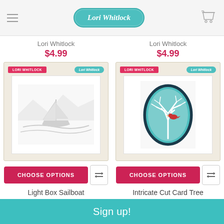Lori Whitlock
Lori Whitlock
$4.99
Lori Whitlock
$4.99
[Figure (photo): Product photo of Light Box Sailboat die cut, showing a landscape sailboat scene in silver metallic die cut form, on craft paper packaging with teal and red brand labels]
[Figure (photo): Product photo of Intricate Cut Card Tree, showing a white tree silhouette with red bird in a teal oval frame, on craft paper packaging with teal and red brand labels]
CHOOSE OPTIONS
CHOOSE OPTIONS
Light Box Sailboat
Intricate Cut Card Tree
Sign up!